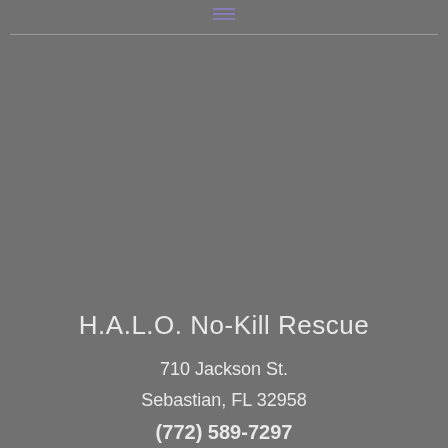≡
H.A.L.O. No-Kill Rescue
710 Jackson St.
Sebastian, FL 32958
(772) 589-7297